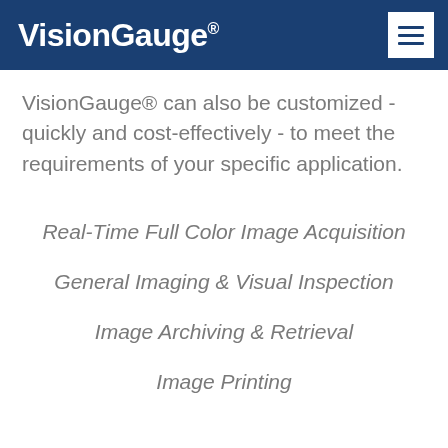VisionGauge®
VisionGauge® can also be customized - quickly and cost-effectively - to meet the requirements of your specific application.
Real-Time Full Color Image Acquisition
General Imaging & Visual Inspection
Image Archiving & Retrieval
Image Printing